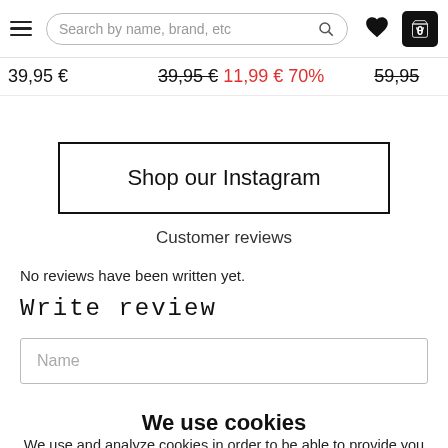Search by name, brand, etc
39,95 €   39,95 € 11,99 € 70%   59,95
Shop our Instagram
Customer reviews
No reviews have been written yet.
Write review
Name
We use cookies
We use and analyze cookies in order to be able to provide you with personally customized content and to optimize marketing in accordance with your interests. By clicking "That's okay!", you approve our use of cookies. By clicking Settings you can customize or deny cookies